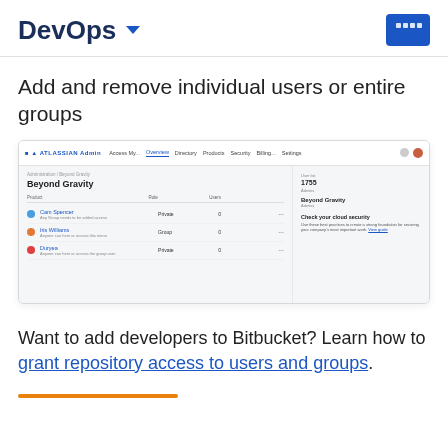DevOps
Add and remove individual users or entire groups
[Figure (screenshot): Atlassian Admin interface showing a workspace called 'Beyond Gravity' with a list of members including Cam Spencer (Private, 0), Iris Williams (Group, 0), and Duryea (Private, 0). A right panel shows organization details and a prompt to check cloud security.]
Want to add developers to Bitbucket? Learn how to grant repository access to users and groups.